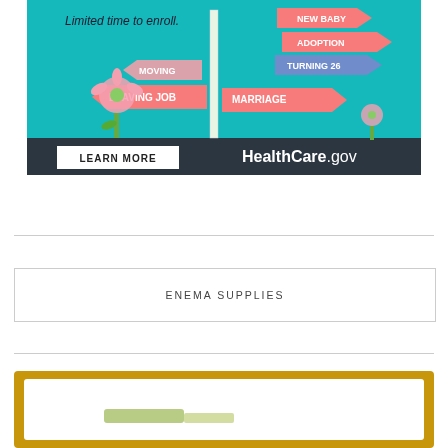[Figure (illustration): HealthCare.gov advertisement banner showing a street sign post with directional arrows labeled: New Baby, Adoption, Turning 26, Moving, Leaving Job, Marriage. Background is teal/turquoise with illustrated flowers. Bottom dark bar shows 'LEARN MORE' button and 'HealthCare.gov' text. Top text reads 'Limited time to enroll.']
ENEMA SUPPLIES
[Figure (illustration): Partial view of a gold/yellow bordered advertisement with white background, partially visible at bottom of page.]